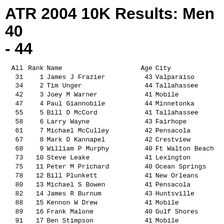ATR 2004 10K Results: Men 40 - 44
| All | Rank | Name | Age | City |
| --- | --- | --- | --- | --- |
| 31 | 1 | James J Frazier | 43 | Valparaiso |
| 34 | 2 | Tim Unger | 44 | Tallahassee |
| 42 | 3 | Joey M Warner | 41 | Mobile |
| 47 | 4 | Paul Giannobile | 44 | Minnetonka |
| 55 | 5 | Bill D McCord | 41 | Tallahassee |
| 58 | 6 | Larry Wayne | 43 | Fairhope |
| 61 | 7 | Michael McCulley | 42 | Pensacola |
| 67 | 8 | Mark D Kannapel | 42 | Crestview |
| 68 | 9 | William P Murphy | 40 | Ft Walton Beach |
| 73 | 10 | Steve Leake | 41 | Lexington |
| 75 | 11 | Peter M Prichard | 40 | Ocean Springs |
| 78 | 12 | Bill Plunkett | 41 | New Orleans |
| 80 | 13 | Michael S Bowen | 41 | Pensacola |
| 82 | 14 | James R Burnum | 43 | Huntsville |
| 88 | 15 | Kennon W Drew | 41 | Mobile |
| 89 | 16 | Frank Malone | 40 | Gulf Shores |
| 91 | 17 | Ben Stimpson | 41 | Mobile |
| 94 | 18 | Timothy M McDaniel | 44 | Biloxi |
| 99 | 19 | Michael L Estes | 41 | Mobile |
| 106 | 20 | Ed J Wild | 42 | Niceville |
| 110 | 21 | Edwin P Lessard Jr | 43 | Loxley |
| 111 | 22 | Mike E Baker | 42 | Pensacola |